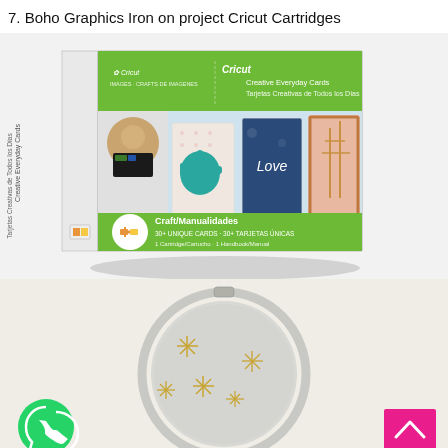7. Boho Graphics Iron on project Cricut Cartridges
[Figure (photo): Cricut Creative Everyday Cards cartridge product box showing three decorative cards (teapot, Love, giraffe) on a wooden surface, with green and white packaging]
[Figure (photo): Embroidery hoop with grey fabric showing gold stitch designs, on a beige background. WhatsApp icon bottom left, pink scroll-to-top button bottom right.]